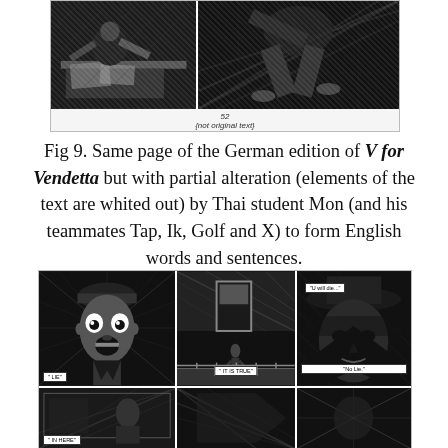[Figure (illustration): Comic book panel from German edition of V for Vendetta showing two panels with action scenes in black and white ink. Caption reads '52 {not original text}']
Fig 9. Same page of the German edition of V for Vendetta but with partial alteration (elements of the text are whited out) by Thai student Mon (and his teammates Tap, Ik, Golf and X) to form English words and sentences.
[Figure (illustration): Comic book page from V for Vendetta showing multiple panels with characters. Speech bubbles contain altered English text: 'U will die...', 'IT IS TRUE', 'No Lie.', 'Lie', 'IN HERE']